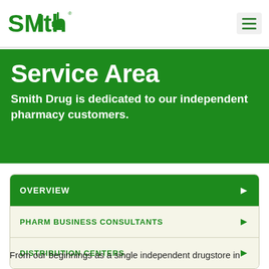Smith Drug logo and navigation hamburger menu
Service Area
Smith Drug is dedicated to our independent pharmacy customers.
OVERVIEW
PHARM BUSINESS CONSULTANTS
DISTRIBUTION CENTERS
From our beginnings as a single independent drugstore in